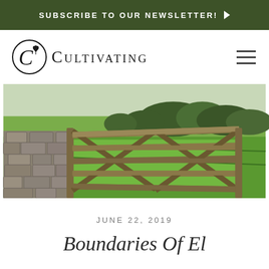SUBSCRIBE TO OUR NEWSLETTER! ▶
CULTIVATING
[Figure (photo): Photograph of a wooden five-bar gate attached to a dry stone wall, opening onto bright green English countryside meadows with trees in the background]
JUNE 22, 2019
Boundaries Of E...